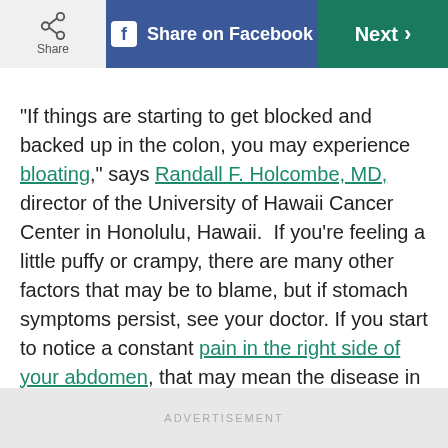Share | Share on Facebook | Next
“If things are starting to get blocked and backed up in the colon, you may experience bloating,” says Randall F. Holcombe, MD, director of the University of Hawaii Cancer Center in Honolulu, Hawaii. If you’re feeling a little puffy or crampy, there are many other factors that may be to blame, but if stomach symptoms persist, see your doctor. If you start to notice a constant pain in the right side of your abdomen, that may mean the disease in the later stages and has spread to the liver, he says. (Check out these habits that help prevent colon cancer.)
ADVERTISEMENT